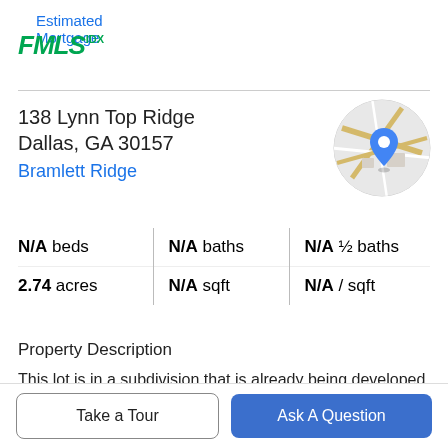Estimated Mortgage
[Figure (logo): FMLS IDX logo in green italic bold font]
138 Lynn Top Ridge
Dallas, GA 30157
Bramlett Ridge
[Figure (map): Circular map thumbnail showing location with blue pin marker]
| N/A beds | N/A baths | N/A ½ baths |
| 2.74 acres | N/A sqft | N/A / sqft |
Property Description
This lot is in a subdivision that is already being developed with single family homes. The property is deeded and must adhere to the subdivision's HOA CCRs.
Take a Tour
Ask A Question